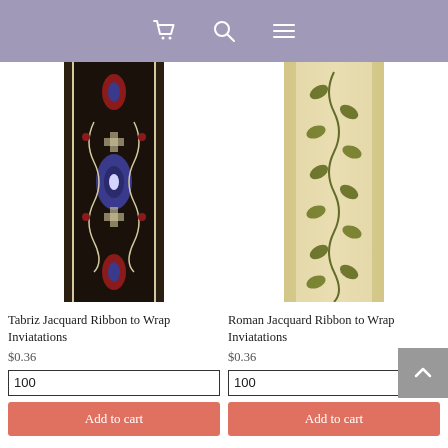[Figure (screenshot): E-commerce website header navigation bar with cart icon, search icon, and menu icon on a muted purple/lavender background]
[Figure (photo): Tabriz Jacquard Ribbon — vertical ribbon with dark background featuring intricate red, blue, and cream floral/geometric pattern]
Tabriz Jacquard Ribbon to Wrap Inviatations
$0.36
100
Add to cart
[Figure (photo): Roman Jacquard Ribbon — vertical ribbon with cream/ivory background featuring dark olive leaf/vine pattern with metallic gold shimmer]
Roman Jacquard Ribbon to Wrap Inviatations
$0.36
100
Add to cart
[Figure (photo): Plaid/tartan ribbon partially visible at bottom left — red, green, and white woven pattern]
[Figure (photo): Dark jacquard ribbon partially visible at bottom right — navy/dark background with multicolor medallion floral pattern and red beaded border]